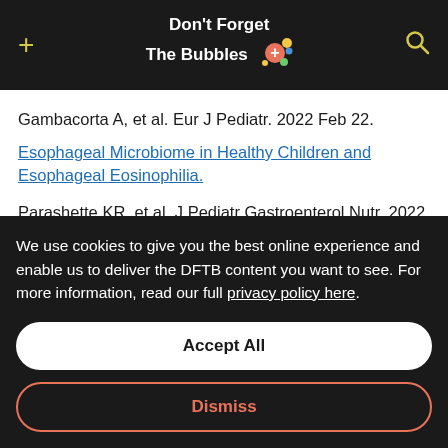Don't Forget The Bubbles
Gambacorta A, et al. Eur J Pediatr. 2022 Feb 22.
Esophageal Microbiome in Healthy Children and Esophageal Eosinophilia.
Parashette KR, et al. J Pediatr Gastroenterol Nutr. 2022 Feb 10.
We use cookies to give you the best online experience and enable us to deliver the DFTB content you want to see. For more information, read our full privacy policy here.
Accept All
Dismiss